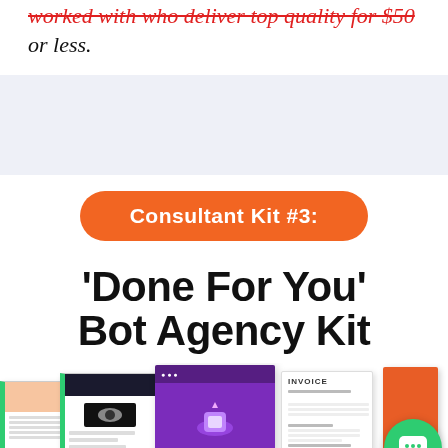or less.
Consultant Kit #3:
'Done For You' Bot Agency Kit
[Figure (screenshot): A collage of document previews including a website with black header, a purple slide with 3D icons, an invoice template, and an orange/red brochure, with a green chat bubble icon overlay.]